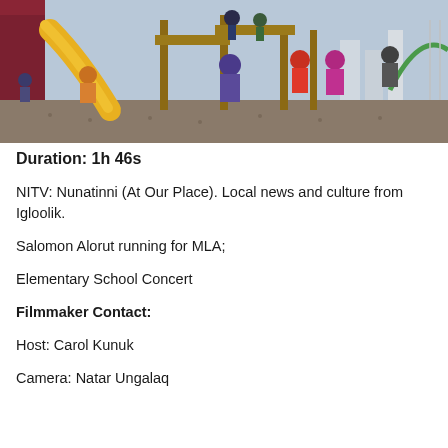[Figure (photo): Children playing on a playground with a yellow slide and wooden climbing structure. Several children in winter jackets are visible, with a bright sky and buildings in the background.]
Duration: 1h 46s
NITV: Nunatinni (At Our Place). Local news and culture from Igloolik.
Salomon Alorut running for MLA;
Elementary School Concert
Filmmaker Contact:
Host: Carol Kunuk
Camera: Natar Ungalaq